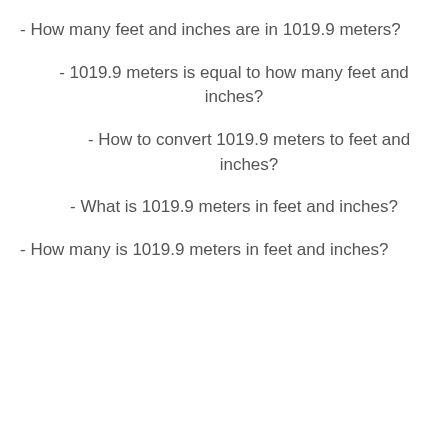- How many feet and inches are in 1019.9 meters?
- 1019.9 meters is equal to how many feet and inches?
- How to convert 1019.9 meters to feet and inches?
- What is 1019.9 meters in feet and inches?
- How many is 1019.9 meters in feet and inches?